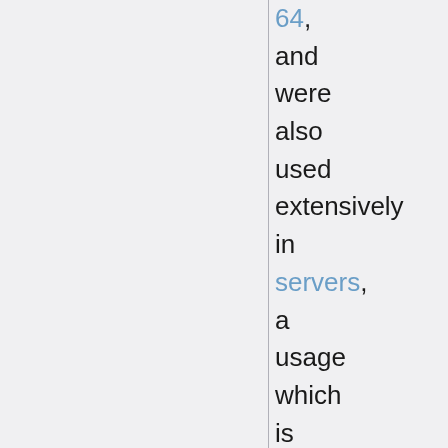64, and were also used extensively in servers, a usage which is still popular today. The